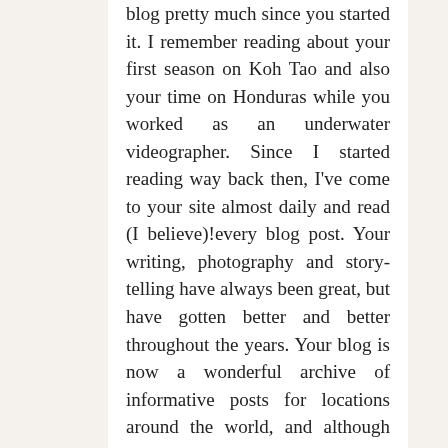blog pretty much since you started it. I remember reading about your first season on Koh Tao and also your time on Honduras while you worked as an underwater videographer. Since I started reading way back then, I've come to your site almost daily and read (I believe)!every blog post. Your writing, photography and story-telling have always been great, but have gotten better and better throughout the years. Your blog is now a wonderful archive of informative posts for locations around the world, and although this might sound weird because we've obviously never met, I'm so proud of you for the life you've built for yourself! Thank you for taking us along this journey with you. It has been a